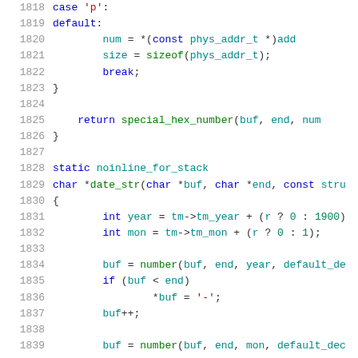Source code listing, lines 1818-1839
1818: case 'p':
1819: default:
1820: num = *(const phys_addr_t *)add
1821: size = sizeof(phys_addr_t);
1822: break;
1823: }
1824: (empty)
1825: return special_hex_number(buf, end, num
1826: }
1827: (empty)
1828: static noinline_for_stack
1829: char *date_str(char *buf, char *end, const stru
1830: {
1831: int year = tm->tm_year + (r ? 0 : 1900)
1832: int mon = tm->tm_mon + (r ? 0 : 1);
1833: (empty)
1834: buf = number(buf, end, year, default_de
1835: if (buf < end)
1836: *buf = '-';
1837: buf++;
1838: (empty)
1839: buf = number(buf, end, mon, default_dec